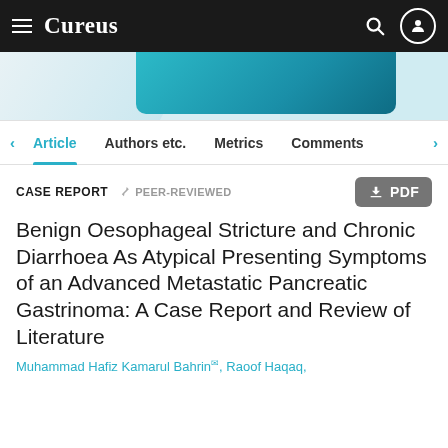Cureus
[Figure (photo): Banner image showing a person in a white coat, with a teal/blue gradient background and a teal box element.]
Article  Authors etc.  Metrics  Comments
CASE REPORT   PEER-REVIEWED
Benign Oesophageal Stricture and Chronic Diarrhoea As Atypical Presenting Symptoms of an Advanced Metastatic Pancreatic Gastrinoma: A Case Report and Review of Literature
Muhammad Hafiz Kamarul Bahrin, Raoof Haqaq,